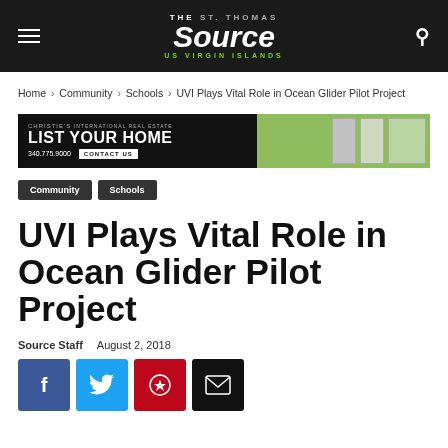The St. Thomas Source – US Virgin Islands
Home › Community › Schools › UVI Plays Vital Role in Ocean Glider Pilot Project
[Figure (other): Christie's International Real Estate advertisement: LIST YOUR HOME – 340.775.9000 – CONTACT US]
Community
Schools
UVI Plays Vital Role in Ocean Glider Pilot Project
Source Staff   August 2, 2018
[Figure (other): Social sharing buttons: Facebook, Twitter, Pinterest, Email]